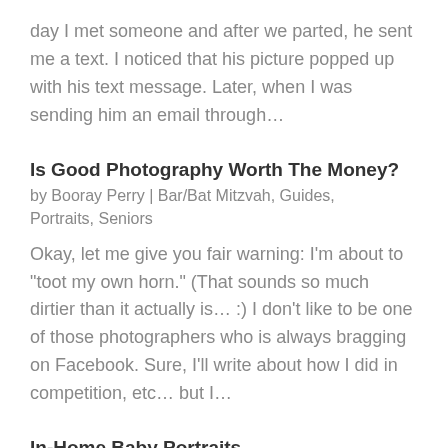day I met someone and after we parted, he sent me a text. I noticed that his picture popped up with his text message.  Later, when I was sending him an email through…
Is Good Photography Worth The Money?
by Booray Perry | Bar/Bat Mitzvah, Guides, Portraits, Seniors
Okay, let me give you fair warning: I'm about to "toot my own horn." (That sounds so much dirtier than it actually is… :) I don't like to be one of those photographers who is always bragging on Facebook. Sure, I'll write about how I did in competition, etc… but I…
In-Home Baby Portraits
by Booray Perry | Bar/Bat Mitzvah,